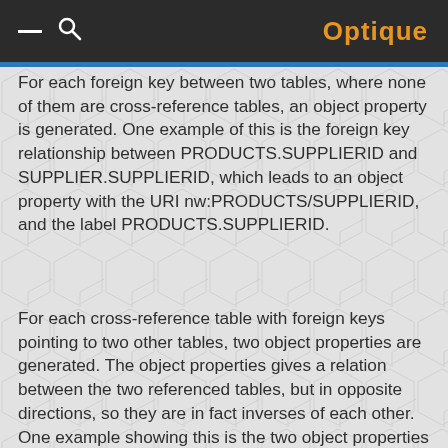Optique
For each foreign key between two tables, where none of them are cross-reference tables, an object property is generated. One example of this is the foreign key relationship between PRODUCTS.SUPPLIERID and SUPPLIER.SUPPLIERID, which leads to an object property with the URI nw:PRODUCTS/SUPPLIERID, and the label PRODUCTS.SUPPLIERID.
For each cross-reference table with foreign keys pointing to two other tables, two object properties are generated. The object properties gives a relation between the two referenced tables, but in opposite directions, so they are in fact inverses of each other. One example showing this is the two object properties labeled TERRITORIES_has_EMPLOYEES and EMPLOYEES_has_TERRITORIES, which is generated from the cross-reference table EMPLOYEETERRITORIES which is...